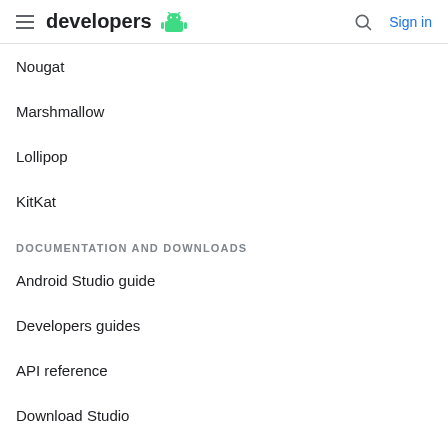developers [android logo] | Search | Sign in
Nougat
Marshmallow
Lollipop
KitKat
DOCUMENTATION AND DOWNLOADS
Android Studio guide
Developers guides
API reference
Download Studio
Android NDK
SUPPORT
Report platform bug